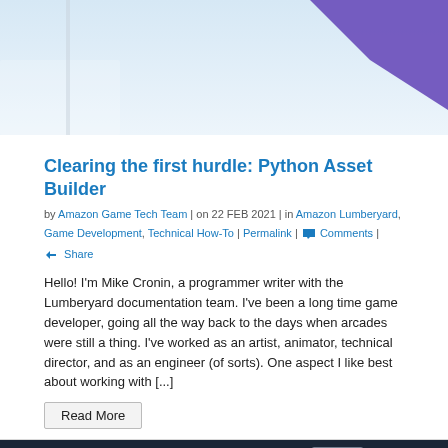[Figure (photo): Top portion of a banner image showing a light blue background with a purple flag or banner element in the upper right corner]
Clearing the first hurdle: Python Asset Builder
by Amazon Game Tech Team | on 22 FEB 2021 | in Amazon Lumberyard, Game Development, Technical How-To | Permalink | Comments | Share
Hello! I'm Mike Cronin, a programmer writer with the Lumberyard documentation team. I've been a long time game developer, going all the way back to the days when arcades were still a thing. I've worked as an artist, animator, technical director, and as an engineer (of sorts). One aspect I like best about working with [...]
Read More
[Figure (illustration): Dark navy background with teal/white line-art illustrations of UI windows, a calculator, a globe icon, chat bubble, and plus signs — a technical/software interface illustration]